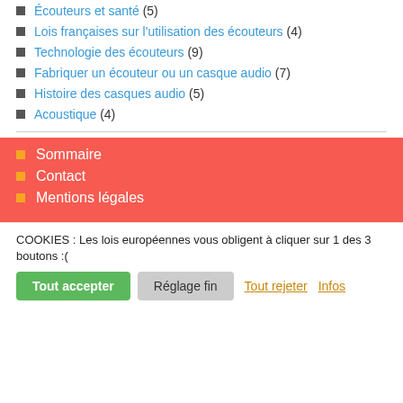Écouteurs et santé (5)
Lois françaises sur l'utilisation des écouteurs (4)
Technologie des écouteurs (9)
Fabriquer un écouteur ou un casque audio (7)
Histoire des casques audio (5)
Acoustique (4)
Sommaire
Contact
Mentions légales
COOKIES : Les lois européennes vous obligent à cliquer sur 1 des 3 boutons :(
Tout accepter | Réglage fin | Tout rejeter | Infos